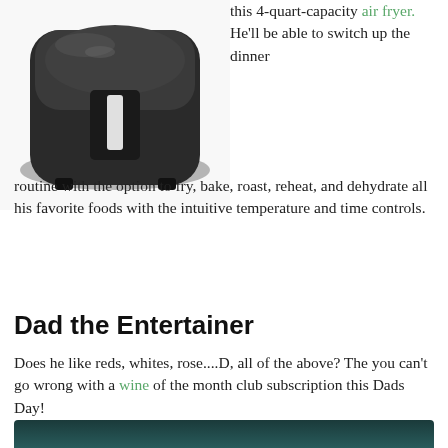[Figure (photo): Black air fryer appliance viewed from above/front]
this 4-quart-capacity air fryer. He'll be able to switch up the dinner routine with the option to fry, bake, roast, reheat, and dehydrate all his favorite foods with the intuitive temperature and time controls.
Dad the Entertainer
Does he like reds, whites, rose....D, all of the above? The you can't go wrong with a wine of the month club subscription this Dads Day!
[Figure (photo): Partially visible image at bottom of page, appears dark teal/green toned]